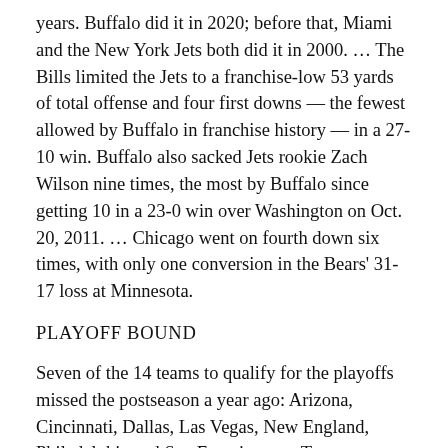years. Buffalo did it in 2020; before that, Miami and the New York Jets both did it in 2000. ... The Bills limited the Jets to a franchise-low 53 yards of total offense and four first downs — the fewest allowed by Buffalo in franchise history — in a 27-10 win. Buffalo also sacked Jets rookie Zach Wilson nine times, the most by Buffalo since getting 10 in a 23-0 win over Washington on Oct. 20, 2011. ... Chicago went on fourth down six times, with only one conversion in the Bears' 31-17 loss at Minnesota.
PLAYOFF BOUND
Seven of the 14 teams to qualify for the playoffs missed the postseason a year ago: Arizona, Cincinnati, Dallas, Las Vegas, New England, Philadelphia and San Francisco. ... Tennessee won the AFC's top seed for the first time since 2008. ... Green Bay will have home-field advantage throughout the NFC playoffs after winning the conference. No one else